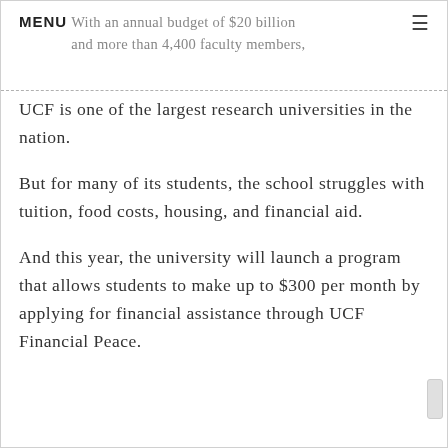MENU  With an annual budget of $20 billion and more than 4,400 faculty members,
UCF is one of the largest research universities in the nation.
But for many of its students, the school struggles with tuition, food costs, housing, and financial aid.
And this year, the university will launch a program that allows students to make up to $300 per month by applying for financial assistance through UCF Financial Peace.